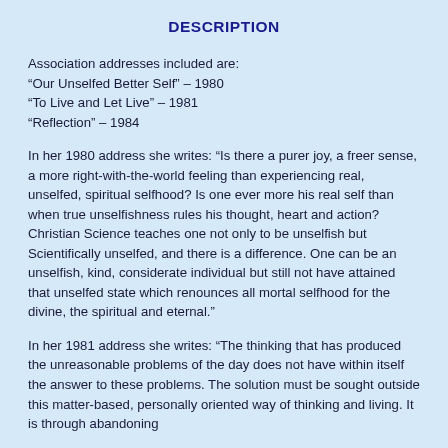DESCRIPTION
Association addresses included are:
“Our Unselfed Better Self” – 1980
“To Live and Let Live” – 1981
“Reflection” – 1984
In her 1980 address she writes: “Is there a purer joy, a freer sense, a more right-with-the-world feeling than experiencing real, unselfed, spiritual selfhood? Is one ever more his real self than when true unselfishness rules his thought, heart and action? Christian Science teaches one not only to be unselfish but Scientifically unselfed, and there is a difference. One can be an unselfish, kind, considerate individual but still not have attained that unselfed state which renounces all mortal selfhood for the divine, the spiritual and eternal.”
In her 1981 address she writes: “The thinking that has produced the unreasonable problems of the day does not have within itself the answer to these problems. The solution must be sought outside this matter-based, personally oriented way of thinking and living. It is through abandoning